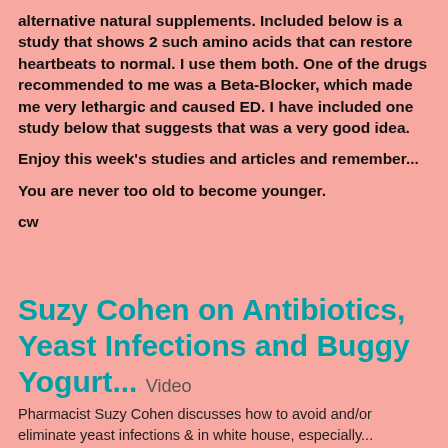alternative natural supplements. Included below is a study that shows 2 such amino acids that can restore heartbeats to normal. I use them both. One of the drugs recommended to me was a Beta-Blocker, which made me very lethargic and caused ED. I have included one study below that suggests that was a very good idea.
Enjoy this week's studies and articles and remember...
You are never too old to become younger.
cw
Suzy Cohen on Antibiotics, Yeast Infections and Buggy Yogurt... Video
Pharmacist Suzy Cohen discusses how to avoid and/or eliminate yeast infections & in white house, especially...